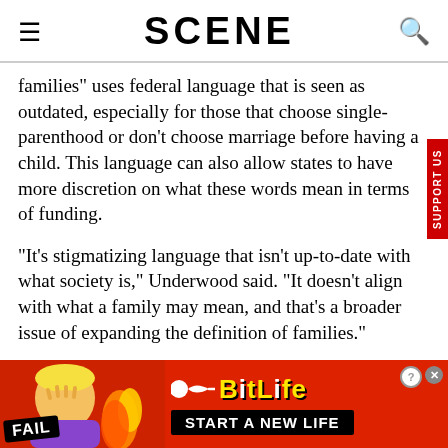SCENE
families" uses federal language that is seen as outdated, especially for those that choose single-parenthood or don't choose marriage before having a child. This language can also allow states to have more discretion on what these words mean in terms of funding.
“It’s stigmatizing language that isn’t up-to-date with what society is,” Underwood said. “It doesn’t align with what a family may mean, and that’s a broader issue of expanding the definition of families.”
Originally published by the Ohio Capital Journal
[Figure (screenshot): BitLife mobile game advertisement banner with flame graphics, character illustration, FAIL badge, sperm icon logo, and START A NEW LIFE text on black background]